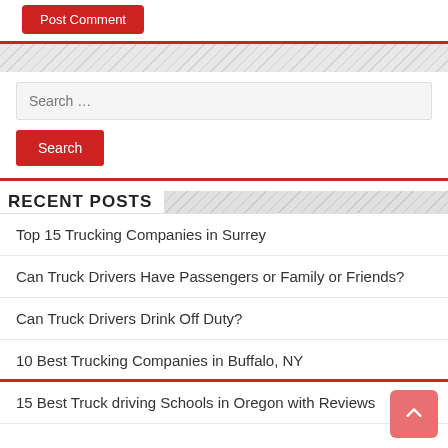Post Comment
Search …
Search
RECENT POSTS
Top 15 Trucking Companies in Surrey
Can Truck Drivers Have Passengers or Family or Friends?
Can Truck Drivers Drink Off Duty?
10 Best Trucking Companies in Buffalo, NY
15 Best Truck driving Schools in Oregon with Reviews